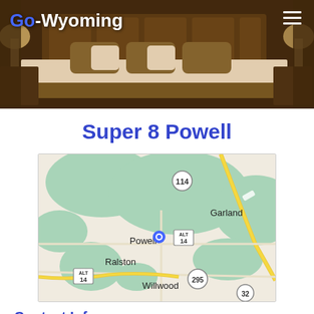[Figure (photo): Hotel room photo showing large bed with decorative pillows, warm lighting, nightstands — header banner for Go-Wyoming travel website]
Go-Wyoming ≡
Super 8 Powell
[Figure (map): Google map showing Powell, Wyoming area with surrounding towns Garland, Ralston, Willwood, and route numbers 114, ALT 14, 295, 32. Blue location pin placed on Powell.]
Contact Info